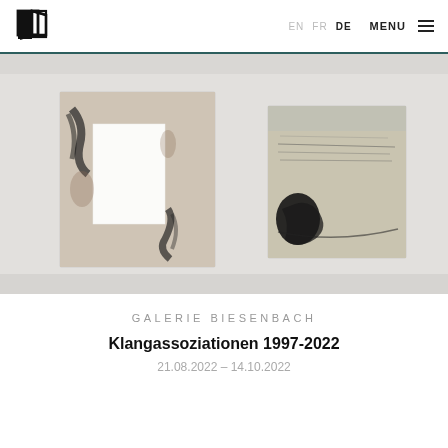EN  FR  DE  MENU
[Figure (photo): Two abstract paintings hanging on a white wall. Left painting features a white rectangle on a beige/taupe background with dark charcoal marks. Right painting is smaller with a dark organic shape and linear marks on a tan/grey background.]
GALERIE BIESENBACH
Klangassoziationen 1997-2022
21.08.2022 – 14.10.2022